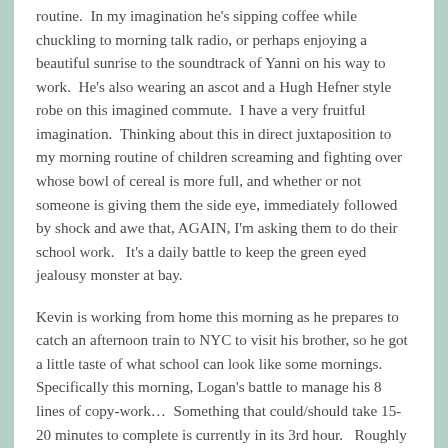routine.  In my imagination he's sipping coffee while chuckling to morning talk radio, or perhaps enjoying a beautiful sunrise to the soundtrack of Yanni on his way to work.  He's also wearing an ascot and a Hugh Hefner style robe on this imagined commute.  I have a very fruitful imagination.  Thinking about this in direct juxtaposition to my morning routine of children screaming and fighting over whose bowl of cereal is more full, and whether or not someone is giving them the side eye, immediately followed by shock and awe that, AGAIN, I'm asking them to do their school work.   It's a daily battle to keep the green eyed jealousy monster at bay.
Kevin is working from home this morning as he prepares to catch an afternoon train to NYC to visit his brother, so he got a little taste of what school can look like some mornings.  Specifically this morning, Logan's battle to manage his 8 lines of copy-work…  Something that could/should take 15-20 minutes to complete is currently in its 3rd hour.   Roughly 45 minutes in, Kevin made the comment that we should enroll them for military school.  This brought the immediate follow-up question from Cub, obviously, asking what Military school